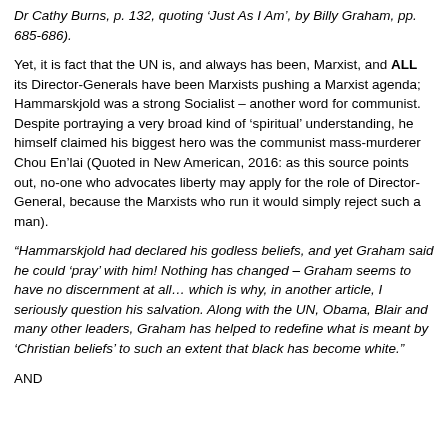Dr Cathy Burns, p. 132, quoting 'Just As I Am', by Billy Graham, pp. 685-686).
Yet, it is fact that the UN is, and always has been, Marxist, and ALL its Director-Generals have been Marxists pushing a Marxist agenda; Hammarskjold was a strong Socialist – another word for communist. Despite portraying a very broad kind of 'spiritual' understanding, he himself claimed his biggest hero was the communist mass-murderer Chou En'lai (Quoted in New American, 2016: as this source points out, no-one who advocates liberty may apply for the role of Director-General, because the Marxists who run it would simply reject such a man).
“Hammarskjold had declared his godless beliefs, and yet Graham said he could ‘pray’ with him! Nothing has changed – Graham seems to have no discernment at all… which is why, in another article, I seriously question his salvation. Along with the UN, Obama, Blair and many other leaders, Graham has helped to redefine what is meant by ‘Christian beliefs’ to such an extent that black has become white.”
AND